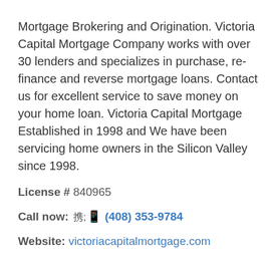Mortgage Brokering and Origination. Victoria Capital Mortgage Company works with over 30 lenders and specializes in purchase, re-finance and reverse mortgage loans. Contact us for excellent service to save money on your home loan. Victoria Capital Mortgage Established in 1998 and We have been servicing home owners in the Silicon Valley since 1998.
License # 840965
Call now: (408) 353-9784
Website: victoriacapitalmortgage.com